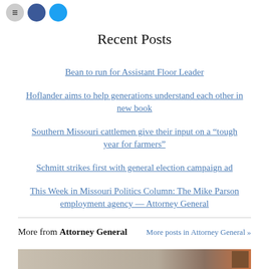[Figure (other): Three social sharing icon circles: gray, blue (Facebook), and light blue (Twitter)]
Recent Posts
Bean to run for Assistant Floor Leader
Hoflander aims to help generations understand each other in new book
Southern Missouri cattlemen give their input on a “tough year for farmers”
Schmitt strikes first with general election campaign ad
This Week in Missouri Politics Column: The Mike Parson employment agency — Attorney General
More from Attorney General   More posts in Attorney General »
[Figure (photo): Partial photo at bottom of page, appears to show documents or a scene related to Attorney General content]